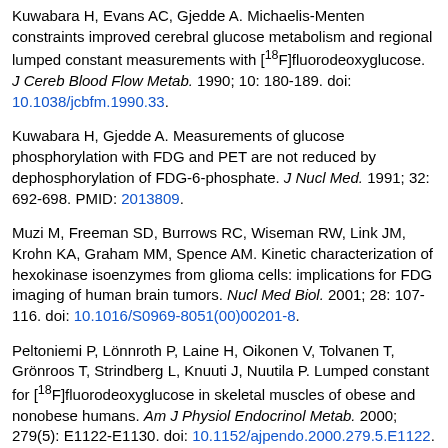Kuwabara H, Evans AC, Gjedde A. Michaelis-Menten constraints improved cerebral glucose metabolism and regional lumped constant measurements with [18F]fluorodeoxyglucose. J Cereb Blood Flow Metab. 1990; 10: 180-189. doi: 10.1038/jcbfm.1990.33.
Kuwabara H, Gjedde A. Measurements of glucose phosphorylation with FDG and PET are not reduced by dephosphorylation of FDG-6-phosphate. J Nucl Med. 1991; 32: 692-698. PMID: 2013809.
Muzi M, Freeman SD, Burrows RC, Wiseman RW, Link JM, Krohn KA, Graham MM, Spence AM. Kinetic characterization of hexokinase isoenzymes from glioma cells: implications for FDG imaging of human brain tumors. Nucl Med Biol. 2001; 28: 107-116. doi: 10.1016/S0969-8051(00)00201-8.
Peltoniemi P, Lönnroth P, Laine H, Oikonen V, Tolvanen T, Grönroos T, Strindberg L, Knuuti J, Nuutila P. Lumped constant for [18F]fluorodeoxyglucose in skeletal muscles of obese and nonobese humans. Am J Physiol Endocrinol Metab. 2000; 279(5): E1122-E1130. doi: 10.1152/ajpendo.2000.279.5.E1122.